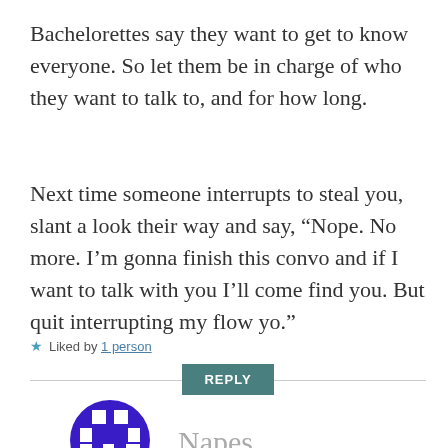Bachelorettes say they want to get to know everyone. So let them be in charge of who they want to talk to, and for how long.
Next time someone interrupts to steal you, slant a look their way and say, “Nope. No more. I’m gonna finish this convo and if I want to talk with you I’ll come find you. But quit interrupting my flow yo.”
★ Liked by 1 person
REPLY
Napes